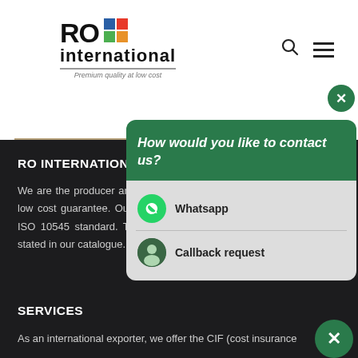[Figure (logo): RO International logo with colored squares, text 'RO international' and tagline 'Premium quality at low cost']
RO INTERNATIONAL
We are the producer and exporter of high quality premium tiles with a low cost guarantee. Our tiles are certified as per DIN EN 14411 and ISO 10545 standard. The results of all our tiles' technical tests are stated in our catalogue.
SERVICES
As an international exporter, we offer the CIF (cost insurance
[Figure (screenshot): Chat popup overlay with green header asking 'How would you like to contact us?' with WhatsApp and Callback request options]